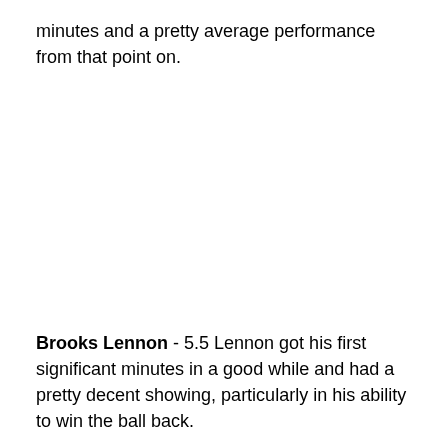minutes and a pretty average performance from that point on.
Brooks Lennon - 5.5 Lennon got his first significant minutes in a good while and had a pretty decent showing, particularly in his ability to win the ball back.